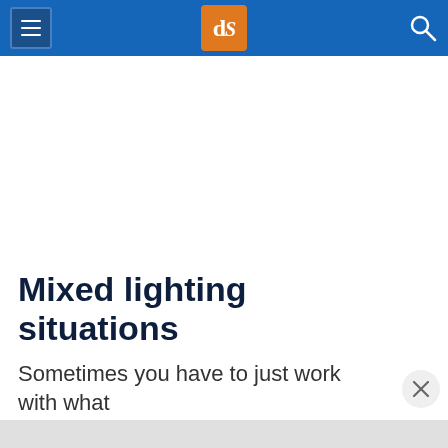dPS navigation header with hamburger menu, dPS logo, and search icon
Mixed lighting situations
Sometimes you have to just work with what